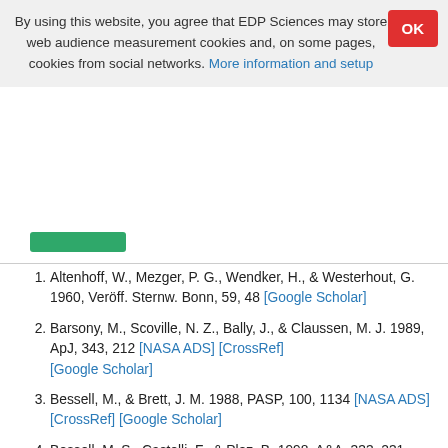By using this website, you agree that EDP Sciences may store web audience measurement cookies and, on some pages, cookies from social networks. More information and setup
Altenhoff, W., Mezger, P. G., Wendker, H., & Westerhout, G. 1960, Veröff. Sternw. Bonn, 59, 48 [Google Scholar]
Barsony, M., Scoville, N. Z., Bally, J., & Claussen, M. J. 1989, ApJ, 343, 212 [NASA ADS] [CrossRef] [Google Scholar]
Bessell, M., & Brett, J. M. 1988, PASP, 100, 1134 [NASA ADS] [CrossRef] [Google Scholar]
Bessell, M. S., Castelli, F., & Plez, B. 1998, A&A, 333, 231 [NASA ADS] [Google Scholar]
Bochkarev, N. G., & Sitnik, T. G. 1985, ApSS, 108, 237 [Google Scholar]
Bolton, J. G., & Westford, K. G. 1950, Aust. J. Sci. Res. A3